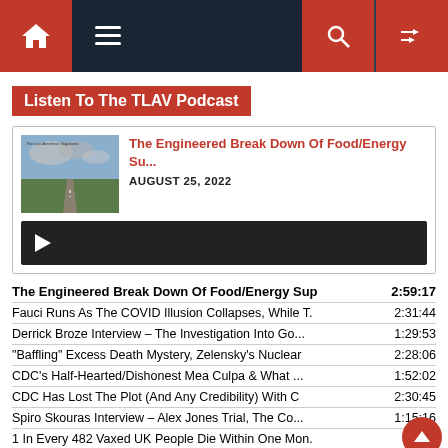[Figure (screenshot): Navigation bar with home icon (red background), hamburger menu, search icon (red background), and shuffle icon (red background) on dark navy background]
Listen To The TLAV Podcast
[Figure (screenshot): Podcast card showing thumbnail image of road/field, title 'The Engineered Break Down Of Food/Energy Su...' in red, date AUGUST 25, 2022, and audio player bar with play button]
The Engineered Break Down Of Food/Energy Sup 2:59:17
Fauci Runs As The COVID Illusion Collapses, While T. 2:31:44
Derrick Broze Interview – The Investigation Into Go... 1:29:53
"Baffling" Excess Death Mystery, Zelensky's Nuclear 2:28:06
CDC's Half-Hearted/Dishonest Mea Culpa & What ... 1:52:02
CDC Has Lost The Plot (And Any Credibility) With C 2:30:45
Spiro Skouras Interview – Alex Jones Trial, The Co... 1:15:16
1 In Every 482 Vaxed UK People Die Within One Mon. 2:...
The Manufactured Civil War, CDC Eats Crow, Imm... 2:55:15